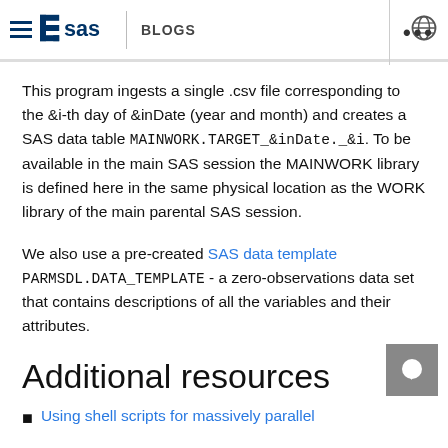SAS BLOGS
This program ingests a single .csv file corresponding to the &i-th day of &inDate (year and month) and creates a SAS data table MAINWORK.TARGET_&inDate._&i. To be available in the main SAS session the MAINWORK library is defined here in the same physical location as the WORK library of the main parental SAS session.
We also use a pre-created SAS data template PARMSDL.DATA_TEMPLATE - a zero-observations data set that contains descriptions of all the variables and their attributes.
Additional resources
Using shell scripts for massively parallel